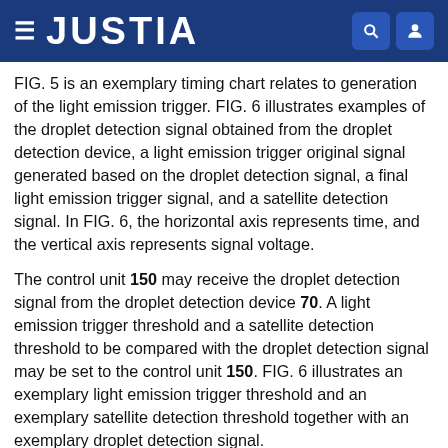JUSTIA
FIG. 5 is an exemplary timing chart relates to generation of the light emission trigger. FIG. 6 illustrates examples of the droplet detection signal obtained from the droplet detection device, a light emission trigger original signal generated based on the droplet detection signal, a final light emission trigger signal, and a satellite detection signal. In FIG. 6, the horizontal axis represents time, and the vertical axis represents signal voltage.
The control unit 150 may receive the droplet detection signal from the droplet detection device 70. A light emission trigger threshold and a satellite detection threshold to be compared with the droplet detection signal may be set to the control unit 150. FIG. 6 illustrates an exemplary light emission trigger threshold and an exemplary satellite detection threshold together with an exemplary droplet detection signal.